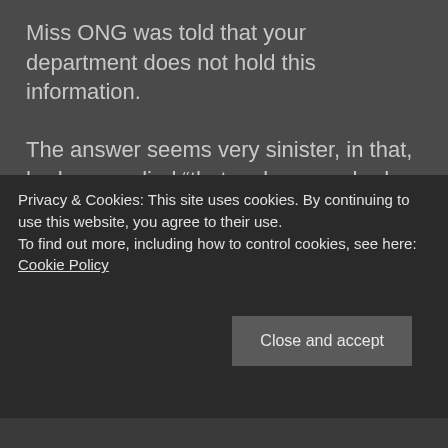Miss ONG was told that your department does not hold this information.
The answer seems very sinister, in that, had you replied “that no bonuses had been paid”, it could be accepted. On the other hand you decided to state information not held.
Privacy & Cookies: This site uses cookies. By continuing to use this website, you agree to their use.
To find out more, including how to control cookies, see here: Cookie Policy
Close and accept